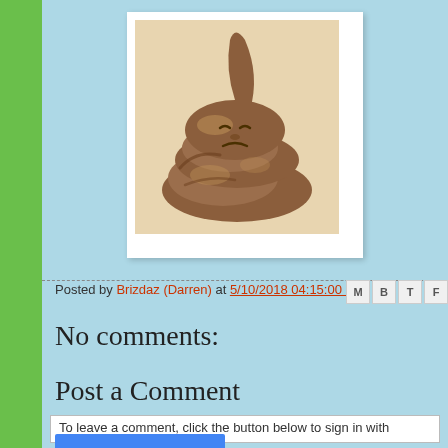[Figure (illustration): An illustration of a coiled poop emoji with a human face on it, rendered in brown tones on a white background with a frame/border.]
Posted by Brizdaz (Darren) at 5/10/2018 04:15:00 PM
No comments:
Post a Comment
To leave a comment, click the button below to sign in with